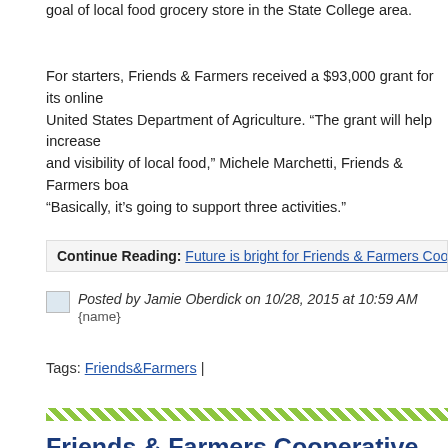goal of local food grocery store in the State College area.
For starters, Friends & Farmers received a $93,000 grant for its online United States Department of Agriculture. “The grant will help increase and visibility of local food,” Michele Marchetti, Friends & Farmers boa “Basically, it’s going to support three activities.”
Continue Reading: Future is bright for Friends & Farmers Cooperat
Posted by Jamie Oberdick on 10/28, 2015 at 10:59 AM
{name}
Tags: Friends&Farmers |
Friends & Farmers Cooperative to hold Membership Meeting on Oct. 16
[Figure (photo): Photo of a person at what appears to be a food store or cooperative setting]